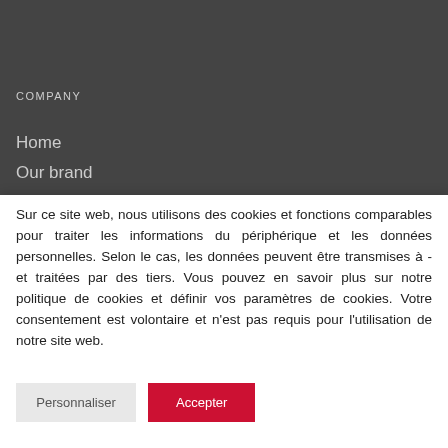COMPANY
Home
Our brand
Contact us
Sur ce site web, nous utilisons des cookies et fonctions comparables pour traiter les informations du périphérique et les données personnelles. Selon le cas, les données peuvent être transmises à - et traitées par des tiers. Vous pouvez en savoir plus sur notre politique de cookies et définir vos paramètres de cookies. Votre consentement est volontaire et n'est pas requis pour l'utilisation de notre site web.
Personnaliser
Accepter